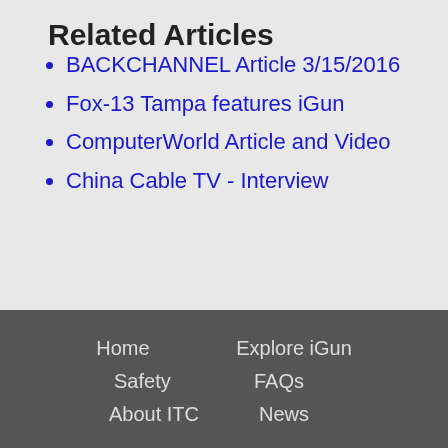Related Articles
BACKCHANNEL Article 3/15/2016
Fox-13 Tampa features iGun
ComputerWorld Article and Video
China Cable TV - Interview
Home   Explore iGun   Safety   FAQs   About ITC   News